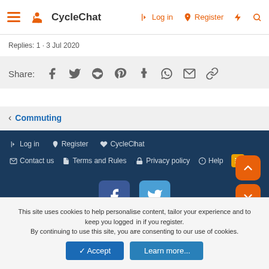CycleChat — Log in | Register
Replies: 1 · 3 Jul 2020
Share: (Facebook, Twitter, Reddit, Pinterest, Tumblr, WhatsApp, Email, Link)
< Commuting
Log in | Register | CycleChat | Contact us | Terms and Rules | Privacy policy | Help | RSS
[Figure (logo): Facebook and Twitter social media icons]
Community platform by XenForo® © 2010-2022 XenForo Ltd.
This site uses cookies to help personalise content, tailor your experience and to keep you logged in if you register. By continuing to use this site, you are consenting to our use of cookies.
Accept | Learn more...